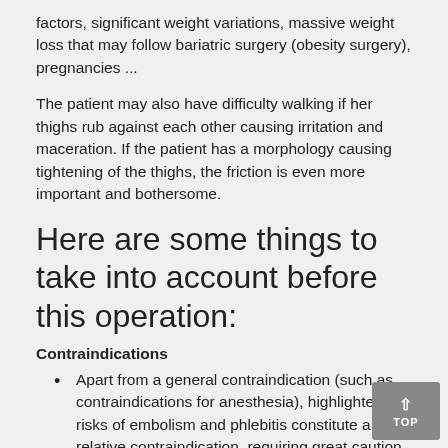factors, significant weight variations, massive weight loss that may follow bariatric surgery (obesity surgery), pregnancies ...
The patient may also have difficulty walking if her thighs rub against each other causing irritation and maceration. If the patient has a morphology causing tightening of the thighs, the friction is even more important and bothersome.
Here are some things to take into account before this operation:
Contraindications
Apart from a general contraindication (such as contraindications for anesthesia), highlighted risks of embolism and phlebitis constitute a relative contraindication, requiring great caution and additional examinations. Whatever the case, an anticoagulant treatment will be systematically prescribed.